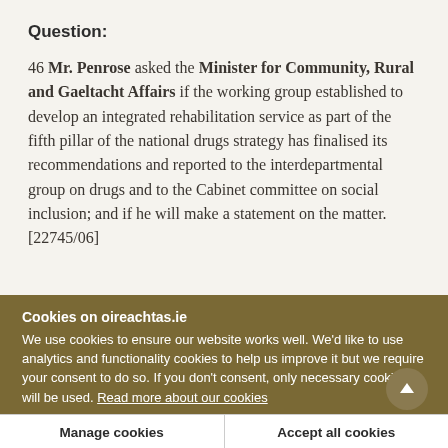Question:
46 Mr. Penrose asked the Minister for Community, Rural and Gaeltacht Affairs if the working group established to develop an integrated rehabilitation service as part of the fifth pillar of the national drugs strategy has finalised its recommendations and reported to the interdepartmental group on drugs and to the Cabinet committee on social inclusion; and if he will make a statement on the matter. [22745/06]
Cookies on oireachtas.ie
We use cookies to ensure our website works well. We'd like to use analytics and functionality cookies to help us improve it but we require your consent to do so. If you don't consent, only necessary cookies will be used. Read more about our cookies
Manage cookies
Accept all cookies